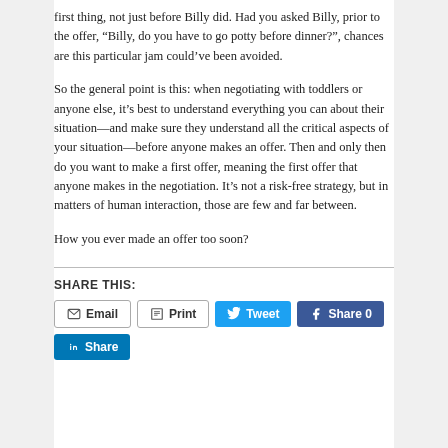first thing, not just before Billy did. Had you asked Billy, prior to the offer, “Billy, do you have to go potty before dinner?”, chances are this particular jam could’ve been avoided.
So the general point is this: when negotiating with toddlers or anyone else, it’s best to understand everything you can about their situation—and make sure they understand all the critical aspects of your situation—before anyone makes an offer. Then and only then do you want to make a first offer, meaning the first offer that anyone makes in the negotiation. It’s not a risk-free strategy, but in matters of human interaction, those are few and far between.
How you ever made an offer too soon?
SHARE THIS:
Email  Print  Tweet  Share 0  Share